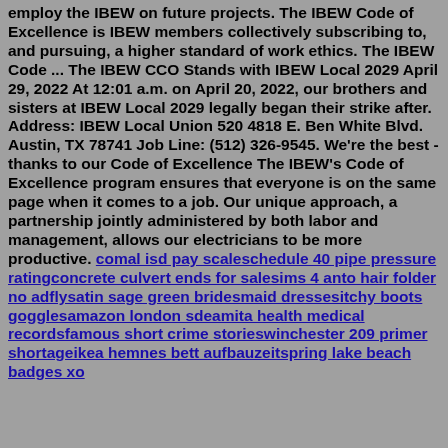employ the IBEW on future projects. The IBEW Code of Excellence is IBEW members collectively subscribing to, and pursuing, a higher standard of work ethics. The IBEW Code ... The IBEW CCO Stands with IBEW Local 2029 April 29, 2022 At 12:01 a.m. on April 20, 2022, our brothers and sisters at IBEW Local 2029 legally began their strike after. Address: IBEW Local Union 520 4818 E. Ben White Blvd. Austin, TX 78741 Job Line: (512) 326-9545. We're the best - thanks to our Code of Excellence The IBEW's Code of Excellence program ensures that everyone is on the same page when it comes to a job. Our unique approach, a partnership jointly administered by both labor and management, allows our electricians to be more productive. comal isd pay scaleschedule 40 pipe pressure ratingconcrete culvert ends for salesims 4 anto hair folder no adflysatin sage green bridesmaid dressesitchy boots gogglesamazon london sdeamita health medical recordsfamous short crime storieswinchester 209 primer shortageikea hemnes bett aufbauzeitspring lake beach badges xo